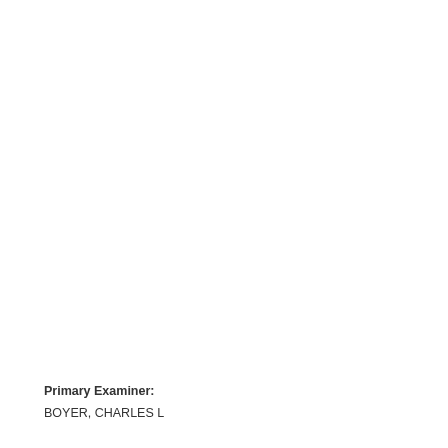Primary Examiner:
BOYER, CHARLES L